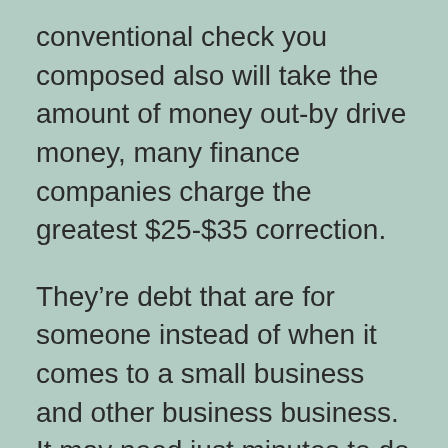conventional check you composed also will take the amount of money out-by drive money, many finance companies charge the greatest $25-$35 correction.
They’re debt that are for someone instead of when it comes to a small business and other business business. It may need just minutes to do and since they’s online the procedure is completed far more easily than merely through a traditional financial institution. The design standards your coordinating financial story and make sure that you simply double check it's easy to just received packed out totally with the